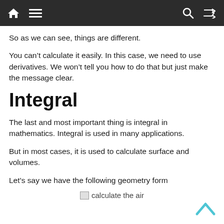Navigation bar with home, menu, search, and shuffle icons
So as we can see, things are different.
You can’t calculate it easily. In this case, we need to use derivatives. We won’t tell you how to do that but just make the message clear.
Integral
The last and most important thing is integral in mathematics. Integral is used in many applications.
But in most cases, it is used to calculate surface and volumes.
Let’s say we have the following geometry form
[Figure (other): Broken image placeholder with alt text 'calculate the air']